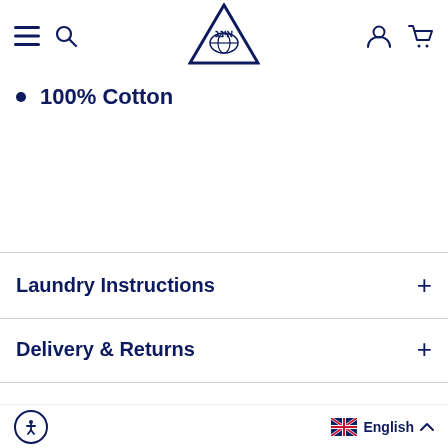Navigation bar with menu, search, logo, account and cart icons
100% Cotton
Laundry Instructions
Delivery & Returns
Size Chart
Accessibility icon | English language selector